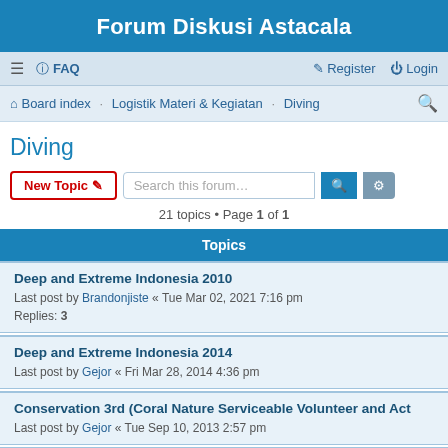Forum Diskusi Astacala
≡  FAQ   Register  Login
Board index · Logistik Materi & Kegiatan · Diving
Diving
21 topics • Page 1 of 1
Topics
Deep and Extreme Indonesia 2010
Last post by Brandonjiste « Tue Mar 02, 2021 7:16 pm
Replies: 3
Deep and Extreme Indonesia 2014
Last post by Gejor « Fri Mar 28, 2014 4:36 pm
Conservation 3rd (Coral Nature Serviceable Volunteer and Act
Last post by Gejor « Tue Sep 10, 2013 2:57 pm
Deep and Extreme Indonesia 2012
Last post by Gejor « Tue Mar 27, 2012 5:04 am
Monggo Dicek Gan....
Last post by Jaymie « Fri Jun 17, 2011 10:46 am